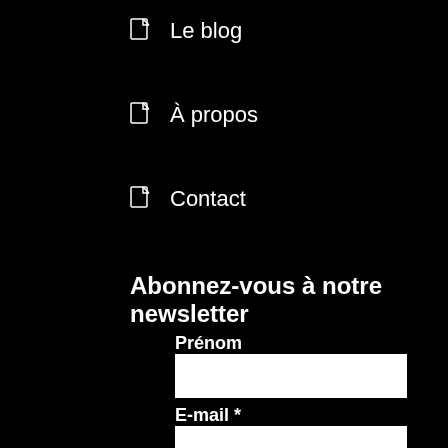Le blog
À propos
Contact
Abonnez-vous à notre newsletter
Prénom
E-mail *
Nous gardons vos données privées et ne les partageons qu'avec les